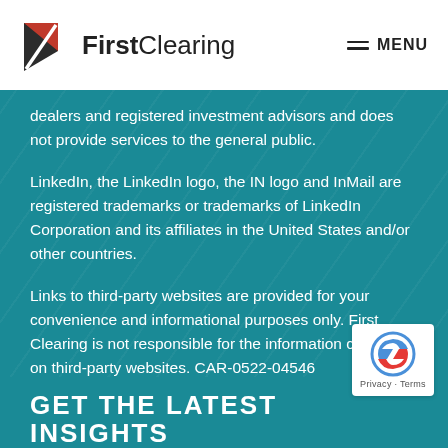[Figure (logo): FirstClearing logo with red/dark flag icon and text 'FirstClearing']
≡ MENU
dealers and registered investment advisors and does not provide services to the general public.
LinkedIn, the LinkedIn logo, the IN logo and InMail are registered trademarks or trademarks of LinkedIn Corporation and its affiliates in the United States and/or other countries.
Links to third-party websites are provided for your convenience and informational purposes only. First Clearing is not responsible for the information contained on third-party websites. CAR-0522-04546
GET THE LATEST INSIGHTS